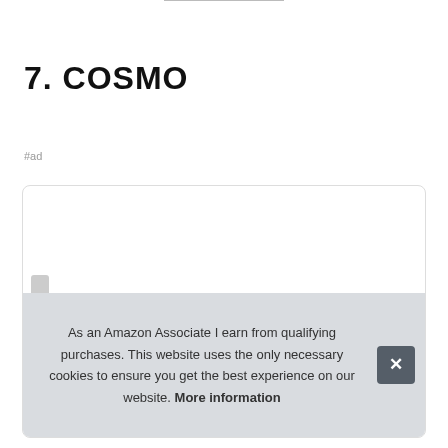7. COSMO
#ad
[Figure (other): Product image box with rounded border, partially visible product at bottom]
As an Amazon Associate I earn from qualifying purchases. This website uses the only necessary cookies to ensure you get the best experience on our website. More information